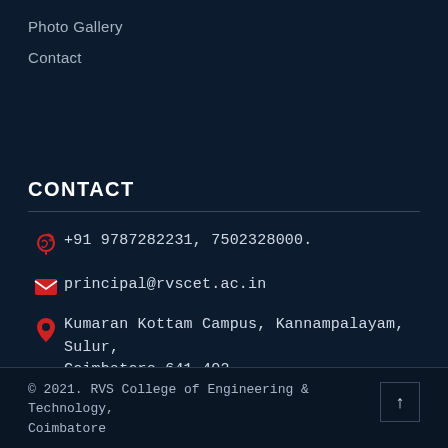Photo Gallery
Contact
CONTACT
+91 9787282231, 7502328000.
principal@rvscet.ac.in
Kumaran Kottam Campus, Kannampalayam, Sulur, Coimbatore 641 402
© 2021. RVS College of Engineering & Technology, Coimbatore